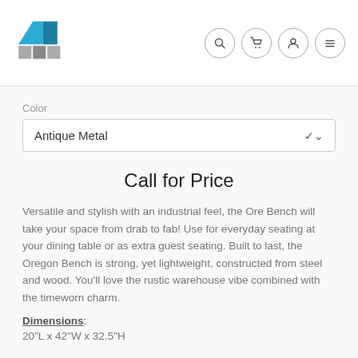[Figure (logo): Company logo with blue and gray building icon]
[Figure (infographic): Navigation icons: search, cart, user, menu]
Color
Antique Metal
Call for Price
Versatile and stylish with an industrial feel, the Ore Bench will take your space from drab to fab! Use for everyday seating at your dining table or as extra guest seating. Built to last, the Oregon Bench is strong, yet lightweight, constructed from steel and wood. You'll love the rustic warehouse vibe combined with the timeworn charm.
Dimensions:
20"L x 42"W x 32.5"H